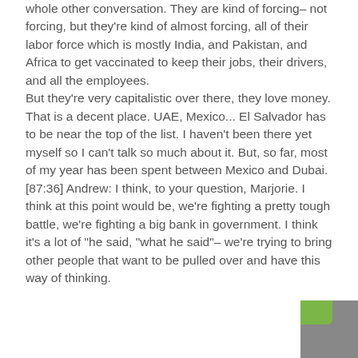whole other conversation. They are kind of forcing– not forcing, but they're kind of almost forcing, all of their labor force which is mostly India, and Pakistan, and Africa to get vaccinated to keep their jobs, their drivers, and all the employees. But they're very capitalistic over there, they love money. That is a decent place. UAE, Mexico... El Salvador has to be near the top of the list. I haven't been there yet myself so I can't talk so much about it. But, so far, most of my year has been spent between Mexico and Dubai. [87:36] Andrew: I think, to your question, Marjorie. I think at this point would be, we're fighting a pretty tough battle, we're fighting a big bank in government. I think it's a lot of "he said, "what he said"– we're trying to bring other people that want to be pulled over and have this way of thinking.